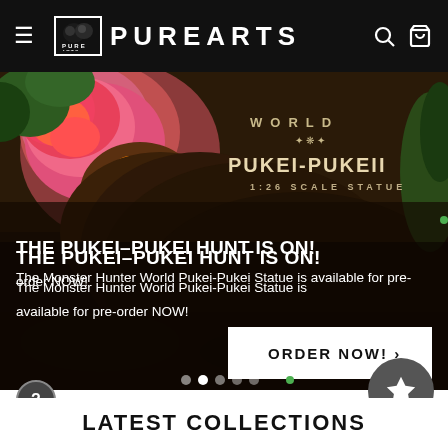PUREARTS navigation bar with hamburger menu, logo, search and cart icons
[Figure (screenshot): Monster Hunter World Pukei-Pukei 1:26 Scale Statue promotional hero banner with creature imagery and text overlaid]
THE PUKEI-PUKEI HUNT IS ON!
The Monster Hunter World Pukei-Pukei Statue is available for pre-order NOW!
LATEST COLLECTIONS